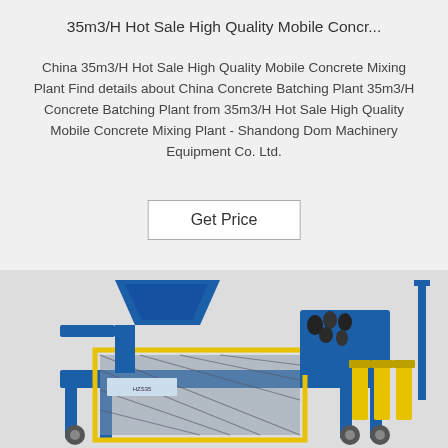35m3/H Hot Sale High Quality Mobile Concr...
China 35m3/H Hot Sale High Quality Mobile Concrete Mixing Plant Find details about China Concrete Batching Plant 35m3/H Concrete Batching Plant from 35m3/H Hot Sale High Quality Mobile Concrete Mixing Plant - Shandong Dom Machinery Equipment Co. Ltd.
Get Price
[Figure (photo): Photo of a blue and yellow mobile concrete mixing plant / batching plant machine with hopper, conveyor, mixing unit, and hydraulic components on a white/light grey background.]